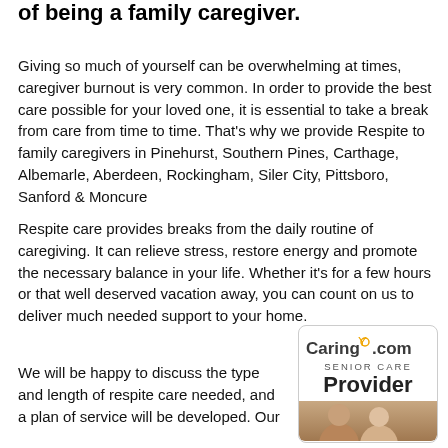of being a family caregiver.
Giving so much of yourself can be overwhelming at times, caregiver burnout is very common. In order to provide the best care possible for your loved one, it is essential to take a break from care from time to time. That's why we provide Respite to family caregivers in Pinehurst, Southern Pines, Carthage, Albemarle, Aberdeen, Rockingham, Siler City, Pittsboro, Sanford & Moncure
Respite care provides breaks from the daily routine of caregiving. It can relieve stress, restore energy and promote the necessary balance in your life. Whether it's for a few hours or that well deserved vacation away, you can count on us to deliver much needed support to your home.
We will be happy to discuss the type and length of respite care needed, and a plan of service will be developed. Our
[Figure (logo): Caring.com Senior Care Provider badge with logo text and two elderly people photo]